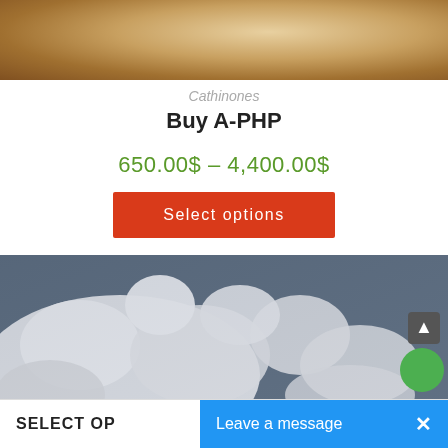[Figure (photo): Close-up photo of brownish/tan crystalline or rocky substance, partially visible at top of page]
Cathinones
Buy A-PHP
650.00$ – 4,400.00$
Select options
[Figure (photo): Close-up photo of white crystalline chunks/rocks against dark blue background]
SELECT OP...
Leave a message
×